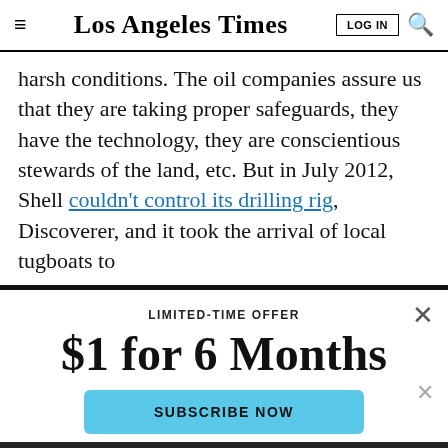Los Angeles Times
harsh conditions. The oil companies assure us that they are taking proper safeguards, they have the technology, they are conscientious stewards of the land, etc. But in July 2012, Shell couldn't control its drilling rig, Discoverer, and it took the arrival of local tugboats to
LIMITED-TIME OFFER
$1 for 6 Months
SUBSCRIBE NOW
By continuing to use our site, you agree to our Terms of Service and Privacy Policy. You can learn more about how we use cookies by reviewing our Privacy Policy. Close
[Figure (infographic): Ad banner: FOOD EVENTS YOU WANT TO MISS with food emoji icons]